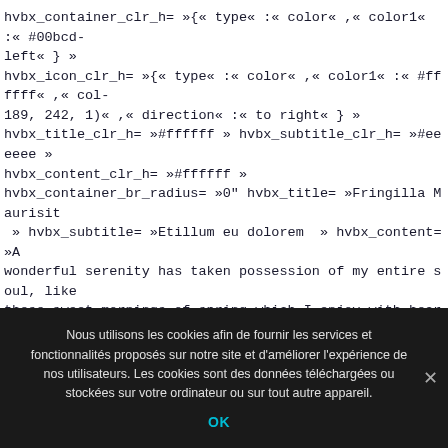hvbx_container_clr_h= »{« type« :« color« ,« color1« :« #00bcd-left« } »
hvbx_icon_clr_h= »{« type« :« color« ,« color1« :« #ffffff« ,« col-189, 242, 1)« ,« direction« :« to right« } »
hvbx_title_clr_h= »#ffffff » hvbx_subtitle_clr_h= »#eeeeee »
hvbx_content_clr_h= »#ffffff »
hvbx_container_br_radius= »0″ hvbx_title= »Fringilla Maurisit » hvbx_subtitle= »Etillum eu dolorem  » hvbx_content= »A wonderful serenity has taken possession of my entire soul, like these sweet mornings of spring which I enjoy with heart and brain the joy. » hvbx_size_def= »0″ hvbx_title_fsize= »font-size:18px;letter-spacing:2px; » hvbx_subtitle_fsize= »font-
Nous utilisons les cookies afin de fournir les services et fonctionnalités proposés sur notre site et d'améliorer l'expérience de nos utilisateurs. Les cookies sont des données téléchargées ou stockées sur votre ordinateur ou sur tout autre appareil.
OK